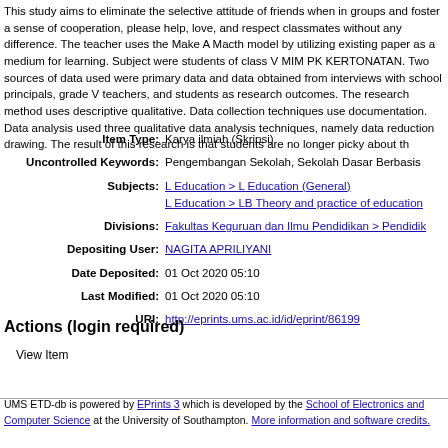This study aims to eliminate the selective attitude of friends when in groups and foster a sense of cooperation, please help, love, and respect classmates without any difference. The teacher uses the Make A Macth model by utilizing existing paper as a medium for learning. Subject were students of class V MIM PK KERTONATAN. Two sources of data used were primary data and data obtained from interviews with school principals, grade V teachers, and students as research outcomes. The research method uses descriptive qualitative. Data collection techniques use documentation. Data analysis used three qualitative data analysis techniques, namely data reduction drawing. The result of this research is that students are no longer picky about th...
| Field | Value |
| --- | --- |
| Item Type: | Karya ilmiah (Skripsi) |
| Uncontrolled Keywords: | Pengembangan Sekolah, Sekolah Dasar Berbasis... |
| Subjects: | L Education > L Education (General)
L Education > LB Theory and practice of education... |
| Divisions: | Fakultas Keguruan dan Ilmu Pendidikan > Pendidik... |
| Depositing User: | NAGITA APRILIYANI |
| Date Deposited: | 01 Oct 2020 05:10 |
| Last Modified: | 01 Oct 2020 05:10 |
| URI: | http://eprints.ums.ac.id/id/eprint/86199 |
Actions (login required)
View Item
UMS ETD-db is powered by EPrints 3 which is developed by the School of Electronics and Computer Science at the University of Southampton. More information and software credits.